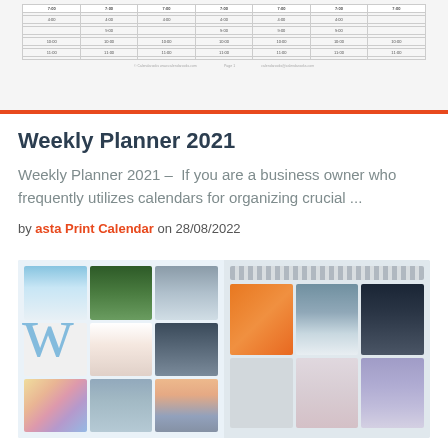[Figure (screenshot): Partial view of a weekly planner calendar table with time slots and days of the week, shown at the top of the page]
Weekly Planner 2021
Weekly Planner 2021 – If you are a business owner who frequently utilizes calendars for organizing crucial ...
by asta Print Calendar on 28/08/2022
[Figure (photo): Collage of calendar and planner product photos showing wall calendars with nature photographs and a handwritten-style background]